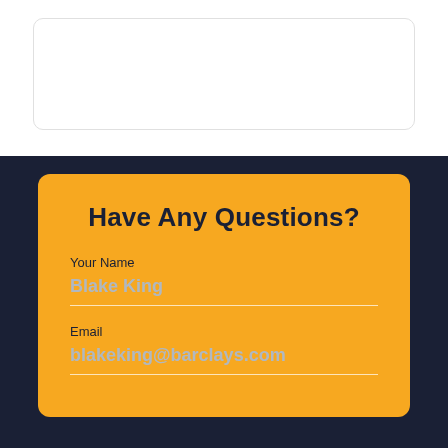[Figure (other): White card/box with rounded corners on white background, partially visible at top of page]
Have Any Questions?
Your Name
Blake King
Email
blakeking@barclays.com